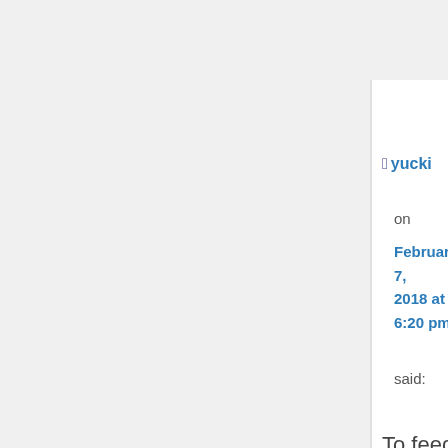🔱 yucki
on
February 7, 2018 at 6:20 pm
said:
To feed their starving people – as many small nations in E. Asia?